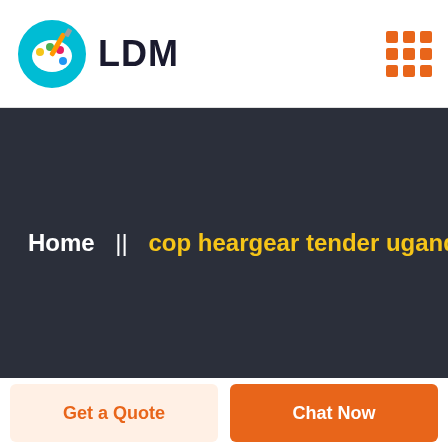[Figure (logo): LDM logo with colorful paint palette circle icon and bold text 'LDM']
[Figure (other): 3x3 grid of orange square dots in top right corner]
Home  ||  cop heargear tender uganda
Get a Quote
Chat Now